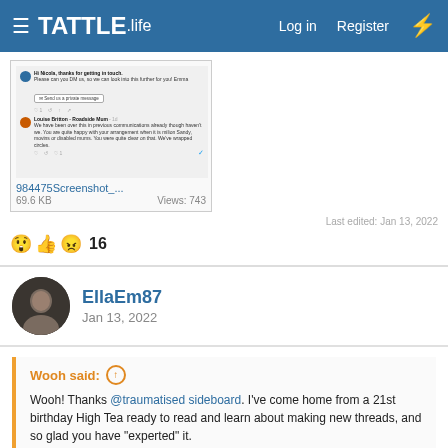TATTLE.life  Log in  Register
[Figure (screenshot): Screenshot of a Twitter/social media conversation showing a verified account responding to Louise Britton - Roadside Mum, with a 'Send us a private message' button visible.]
984475Screenshot_...  69.6 KB  Views: 743
Last edited: Jan 13, 2022
16 reactions (surprised, thumbs up, angry)
EllaEm87
Jan 13, 2022
Wooh said: ↑
Wooh! Thanks @traumatised sideboard. I've come home from a 21st birthday High Tea ready to read and learn about making new threads, and so glad you have "experted" it.